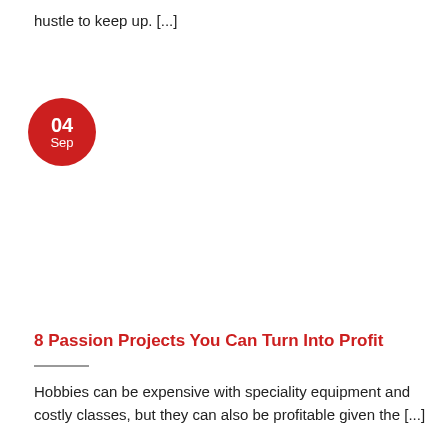hustle to keep up. [...]
[Figure (other): Date badge circle with '04 Sep' in white text on red background]
8 Passion Projects You Can Turn Into Profit
Hobbies can be expensive with speciality equipment and costly classes, but they can also be profitable given the [...]